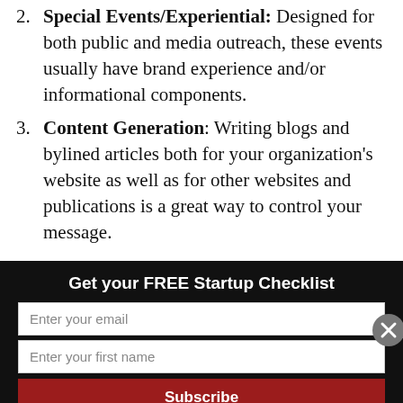Special Events/Experiential: Designed for both public and media outreach, these events usually have brand experience and/or informational components.
Content Generation: Writing blogs and bylined articles both for your organization's website as well as for other websites and publications is a great way to control your message.
Get your FREE Startup Checklist
Enter your email
Enter your first name
Subscribe